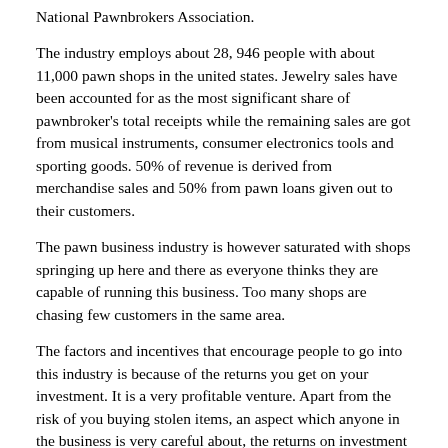National Pawnbrokers Association.
The industry employs about 28, 946 people with about 11,000 pawn shops in the united states. Jewelry sales have been accounted for as the most significant share of pawnbroker's total receipts while the remaining sales are got from musical instruments, consumer electronics tools and sporting goods. 50% of revenue is derived from merchandise sales and 50% from pawn loans given out to their customers.
The pawn business industry is however saturated with shops springing up here and there as everyone thinks they are capable of running this business. Too many shops are chasing few customers in the same area.
The factors and incentives that encourage people to go into this industry is because of the returns you get on your investment. It is a very profitable venture. Apart from the risk of you buying stolen items, an aspect which anyone in the business is very careful about, the returns on investment is very good. Even when customers default on their loan, you can recoup your money by selling the item